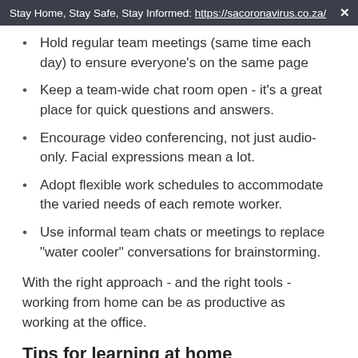Stay Home, Stay Safe, Stay Informed: https://sacoronavirus.co.za/ ×
Hold regular team meetings (same time each day) to ensure everyone's on the same page
Keep a team-wide chat room open - it's a great place for quick questions and answers.
Encourage video conferencing, not just audio-only. Facial expressions mean a lot.
Adopt flexible work schedules to accommodate the varied needs of each remote worker.
Use informal team chats or meetings to replace "water cooler" conversations for brainstorming.
With the right approach - and the right tools - working from home can be as productive as working at the office.
Tips for learning at home
Lectures. Research. Writing. Exams. There's a lot to being